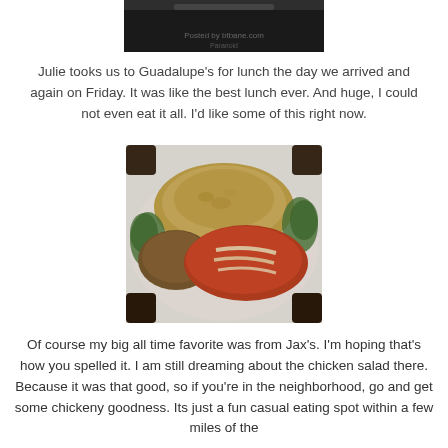[Figure (photo): Top portion of a photo, dark/black image, appears to be a screen or dark surface, partially visible at top of page]
Julie tooks us to Guadalupe's for lunch the day we arrived and again on Friday. It was like the best lunch ever. And huge, I could not even eat it all. I'd like some of this right now.
[Figure (photo): A plate of Mexican food with rice piled high, enchiladas covered in red/orange sauce with cheese, and greens, served on a white plate]
Of course my big all time favorite was from Jax's. I'm hoping that's how you spelled it. I am still dreaming about the chicken salad there. Because it was that good, so if you're in the neighborhood, go and get some chickeny goodness. Its just a fun casual eating spot within a few miles of the